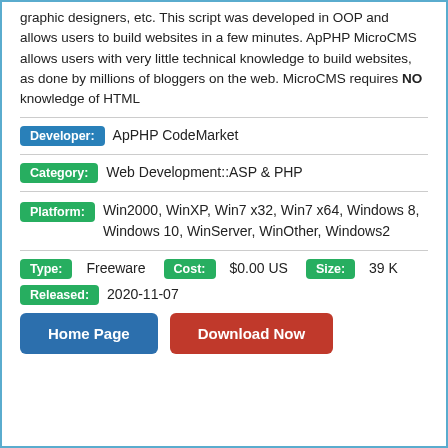graphic designers, etc. This script was developed in OOP and allows users to build websites in a few minutes. ApPHP MicroCMS allows users with very little technical knowledge to build websites, as done by millions of bloggers on the web. MicroCMS requires NO knowledge of HTML
Developer: ApPHP CodeMarket
Category: Web Development::ASP & PHP
Platform: Win2000, WinXP, Win7 x32, Win7 x64, Windows 8, Windows 10, WinServer, WinOther, Windows2
Type: Freeware   Cost: $0.00 US   Size: 39 K
Released: 2020-11-07
Home Page   Download Now